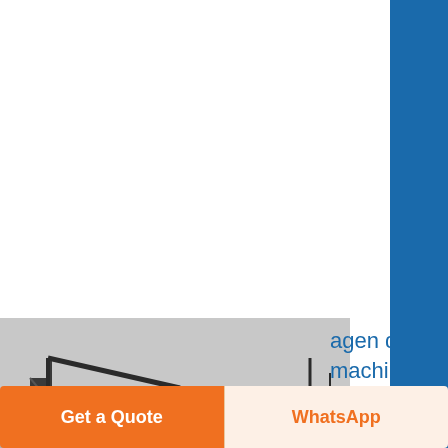Machine Get Price Cylindrical grinder Wikipedia The cylindrical grinder is a type of grinding machine used to shape the outside of an object The cylindrical grinder can work on a variety of ....
[Figure (photo): Black and white photograph of a large industrial grinding or quarry machine.]
agen di indonesia cement packing machine - Know More
stamper tablet grinding machine di indonesia Quarry Machine CGM quarry cruher grinder plant and quarry Quarry machine manufacturer CGM service for stone quarry plant industry for fresh vegetable suppliers ran online item untu
Get a Quote
WhatsApp